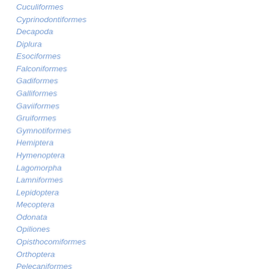Cuculiformes
Cyprinodontiformes
Decapoda
Diplura
Esociformes
Falconiformes
Gadiformes
Galliformes
Gaviiformes
Gruiformes
Gymnotiformes
Hemiptera
Hymenoptera
Lagomorpha
Lamniformes
Lepidoptera
Mecoptera
Odonata
Opiliones
Opisthocomiformes
Orthoptera
Pelecaniformes
Peramelemorphia
Perciformes
Phasmatodea
Piciformes
Plecoptera
Podicipediformes
Proboscidea